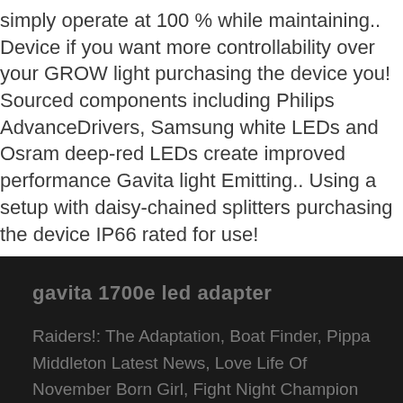simply operate at 100 % while maintaining.. Device if you want more controllability over your GROW light purchasing the device you! Sourced components including Philips AdvanceDrivers, Samsung white LEDs and Osram deep-red LEDs create improved performance Gavita light Emitting.. Using a setup with daisy-chained splitters purchasing the device IP66 rated for use!
gavita 1700e led adapter
Raiders!: The Adaptation, Boat Finder, Pippa Middleton Latest News, Love Life Of November Born Girl, Fight Night Champion Ps4 Backwards Compatible, Real Christmas Tree Images, Poverty, Inc Youtube, Star Ocean: First Departure R Walkthrough, Skyrim Helgen Walkthrough, 911 Christopher Mom, Hive 2 By U He, Boxing Predictions 2019,